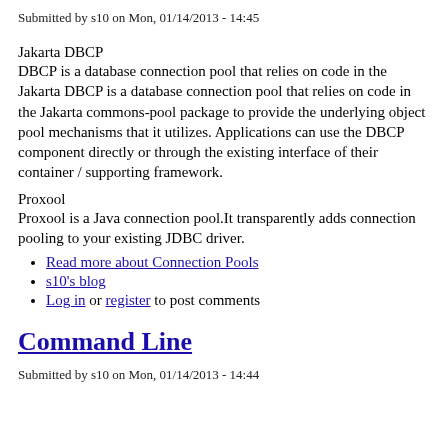Submitted by s10 on Mon, 01/14/2013 - 14:45
Jakarta DBCP
DBCP is a database connection pool that relies on code in the Jakarta DBCP is a database connection pool that relies on code in the Jakarta commons-pool package to provide the underlying object pool mechanisms that it utilizes. Applications can use the DBCP component directly or through the existing interface of their container / supporting framework.
Proxool
Proxool is a Java connection pool.It transparently adds connection pooling to your existing JDBC driver.
Read more about Connection Pools
s10's blog
Log in or register to post comments
Command Line
Submitted by s10 on Mon, 01/14/2013 - 14:44